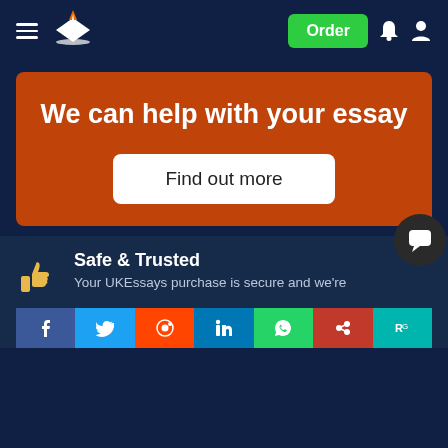UKEssays navigation bar with hamburger menu, logo, Order button, notification and profile icons
We can help with your essay
Find out more
Safe & Trusted
Your UKEssays purchase is secure and we're
[Figure (other): Social share bar with Facebook, Twitter, Reddit, LinkedIn, WhatsApp, Mendeley, ResearchGate icons]